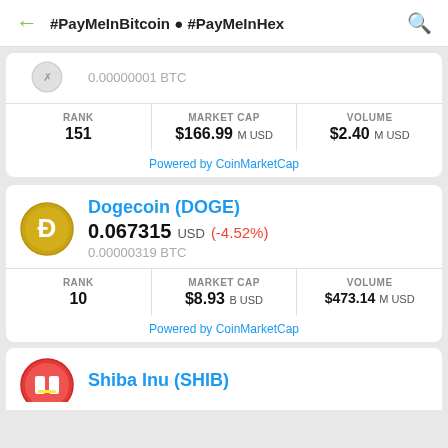#PayMeInBitcoin ● #PayMeInHex
0.00000001 BTC
| RANK | MARKET CAP | VOLUME |
| --- | --- | --- |
| 151 | $166.99 M USD | $2.40 M USD |
Powered by CoinMarketCap
Dogecoin (DOGE)
0.067315 USD (-4.52%)
0.00000319 BTC
| RANK | MARKET CAP | VOLUME |
| --- | --- | --- |
| 10 | $8.93 B USD | $473.14 M USD |
Powered by CoinMarketCap
Shiba Inu (SHIB)